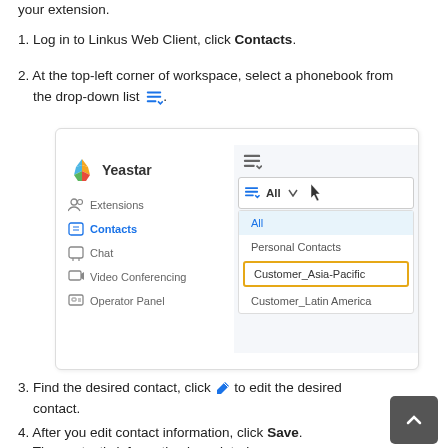your extension.
1. Log in to Linkus Web Client, click Contacts.
2. At the top-left corner of workspace, select a phonebook from the drop-down list [icon].
[Figure (screenshot): Yeastar Linkus Web Client interface showing the Contacts section with a phonebook dropdown open. The dropdown shows options: All (selected/highlighted in blue), Personal Contacts, Customer_Asia-Pacific (highlighted with orange border), Customer_Latin America. The left sidebar shows menu items: Extensions, Contacts (active in blue), Chat, Video Conferencing, Operator Panel.]
3. Find the desired contact, click [pencil icon] to edit the desired contact.
4. After you edit contact information, click Save.
The contact's information is updated.